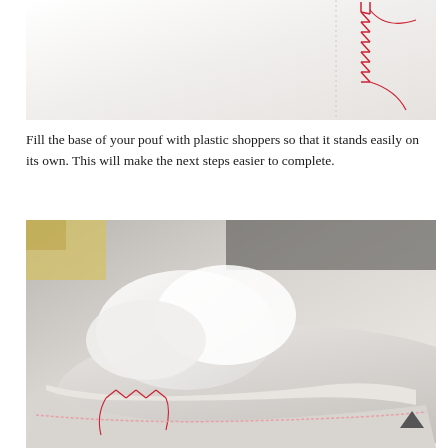[Figure (photo): Close-up photo of white fabric with red stitching along the edge, showing a seam being sewn on a pouf]
Fill the base of your pouf with plastic shoppers so that it stands easily on its own. This will make the next steps easier to complete.
[Figure (photo): Photo showing the inside of a pouf base being filled with white plastic bags/shoppers, with red stitching visible along the bottom edge]